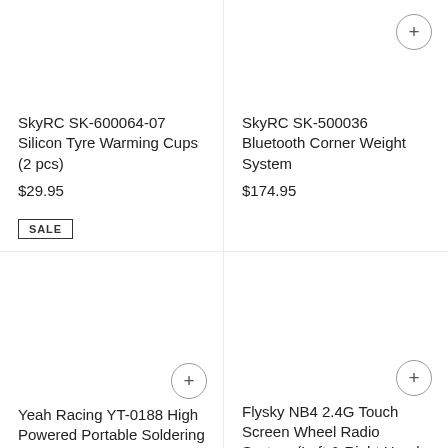SkyRC SK-600064-07 Silicon Tyre Warming Cups (2 pcs)
$29.95
SkyRC SK-500036 Bluetooth Corner Weight System
$174.95
SALE
Yeah Racing YT-0188 High Powered Portable Soldering Iron
$100.95 $99.95
Flysky NB4 2.4G Touch Screen Wheel Radio System (Left & Right Hand Adjustable)